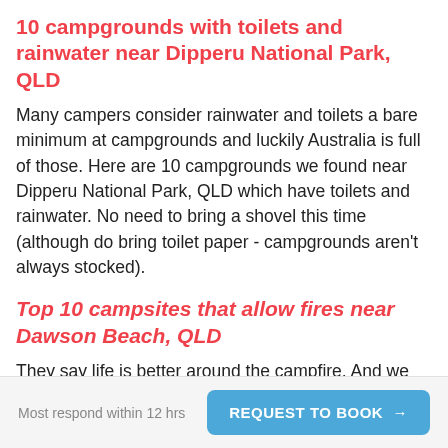10 campgrounds with toilets and rainwater near Dipperu National Park, QLD
Many campers consider rainwater and toilets a bare minimum at campgrounds and luckily Australia is full of those. Here are 10 campgrounds we found near Dipperu National Park, QLD which have toilets and rainwater. No need to bring a shovel this time (although do bring toilet paper - campgrounds aren't always stocked).
Top 10 campsites that allow fires near Dawson Beach, QLD
They say life is better around the campfire. And we could not agree more.  Over the years due to increase fire risk it's become a challenge to find great campsites that allow you to have a fire by your tent.  Please be a responsible Aircamper and brush up on your fire safety
Most respond within 12 hrs   REQUEST TO BOOK →